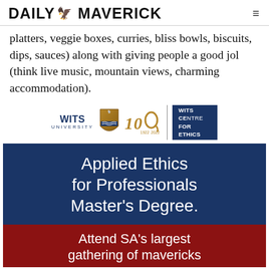DAILY MAVERICK
platters, veggie boxes, curries, bliss bowls, biscuits, dips, sauces) along with giving people a good jol (think live music, mountain views, charming accommodation).
[Figure (logo): Wits University centenary logo with Wits Centre for Ethics blue box]
[Figure (infographic): Applied Ethics for Professionals Master's Degree advertisement with blue and red sections. Bottom red section reads: Attend SA's largest gathering of mavericks]